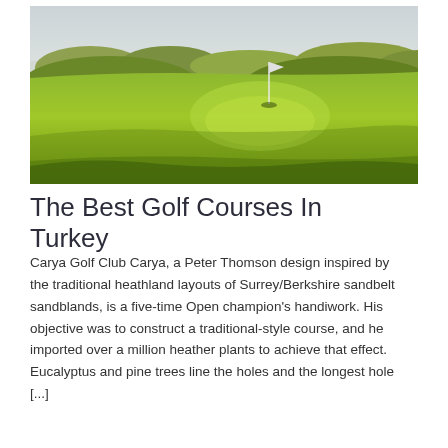[Figure (photo): Aerial view of a lush green golf course fairway and putting green with a flag pin in the center, rolling hills and dunes in the background under a pale sky.]
The Best Golf Courses In Turkey
Carya Golf Club Carya, a Peter Thomson design inspired by the traditional heathland layouts of Surrey/Berkshire sandbelt sandblands, is a five-time Open champion's handiwork. His objective was to construct a traditional-style course, and he imported over a million heather plants to achieve that effect. Eucalyptus and pine trees line the holes and the longest hole [...]